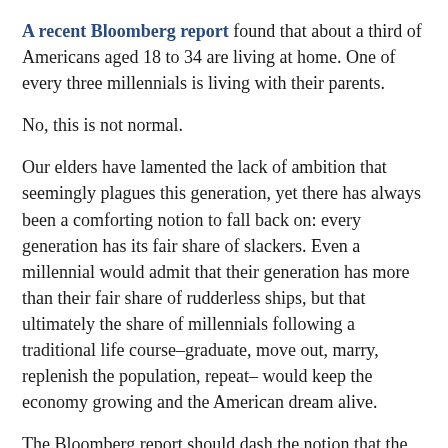A recent Bloomberg report found that about a third of Americans aged 18 to 34 are living at home. One of every three millennials is living with their parents.
No, this is not normal.
Our elders have lamented the lack of ambition that seemingly plagues this generation, yet there has always been a comforting notion to fall back on: every generation has its fair share of slackers. Even a millennial would admit that their generation has more than their fair share of rudderless ships, but that ultimately the share of millennials following a traditional life course–graduate, move out, marry, replenish the population, repeat– would keep the economy growing and the American dream alive.
The Bloomberg report should dash the notion that the millennial generation, as well as the Gen Y, Gen Z, iGen,